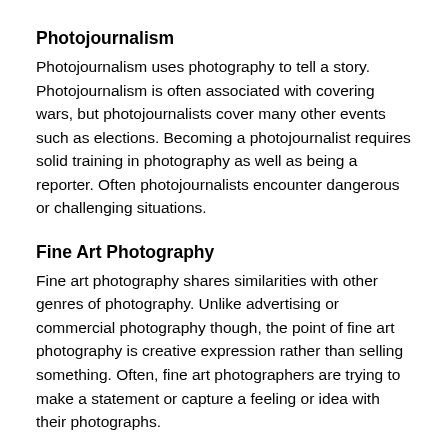Photojournalism
Photojournalism uses photography to tell a story. Photojournalism is often associated with covering wars, but photojournalists cover many other events such as elections. Becoming a photojournalist requires solid training in photography as well as being a reporter. Often photojournalists encounter dangerous or challenging situations.
Fine Art Photography
Fine art photography shares similarities with other genres of photography. Unlike advertising or commercial photography though, the point of fine art photography is creative expression rather than selling something. Often, fine art photographers are trying to make a statement or capture a feeling or idea with their photographs.
Nature Photography